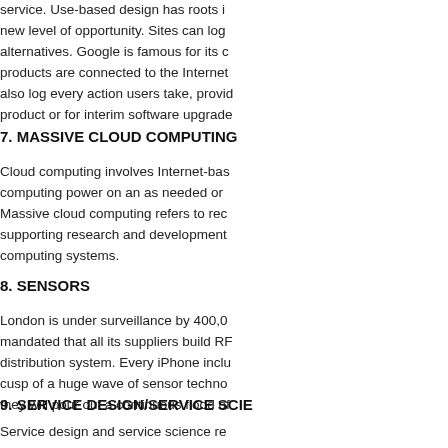service. Use-based design has roots in a new level of opportunity. Sites can log alternatives. Google is famous for its products are connected to the Internet also log every action users take, providing product or for interim software upgrade
7. MASSIVE CLOUD COMPUTING
Cloud computing involves Internet-based computing power on an as needed or Massive cloud computing refers to rec supporting research and development computing systems.
8. SENSORS
London is under surveillance by 400,0 mandated that all its suppliers build RF distribution system. Every iPhone inclu cusp of a huge wave of sensor techno they will pour out a continuous flood of
9. SERVICE DESIGN/SERVICE SCIE
Service design and service science re services. As hardware becomes increa